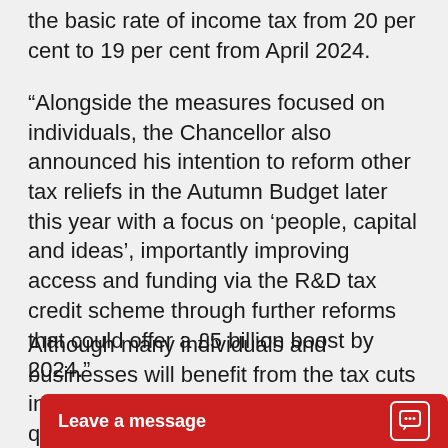the basic rate of income tax from 20 per cent to 19 per cent from April 2024.
“Alongside the measures focused on individuals, the Chancellor also announced his intention to reform other tax reliefs in the Autumn Budget later this year with a focus on ‘people, capital and ideas’, importantly improving access and funding via the R&D tax credit scheme through further reforms that could offer a £5 billion boost by 2024.”
Although many individuals and businesses will benefit from the tax cuts in the Spring St... questioned how...